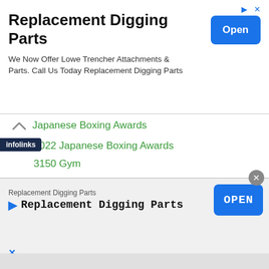[Figure (other): Top advertisement banner for 'Replacement Digging Parts' with Open button]
Japanese Boxing Awards
2022 Japanese Boxing Awards
3150 Gym
89th All Japan National Championships
Abay Tolesh
Abdulkadir Abdullayev
Abdulkhay Sharakhmatov
Abdurasul Ismoilov
Abema Tv
Abilkhaiyr Shegaliyev
Abilkhan Amankul
an Khussainov
[Figure (other): Bottom infolinks advertisement overlay for 'Replacement Digging Parts' with OPEN button and close X]